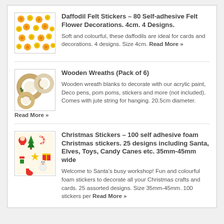[Figure (photo): Yellow and orange daffodil felt flower stickers arranged in a grid pattern]
Daffodil Felt Stickers – 80 Self-adhesive Felt Flower Decorations. 4cm. 4 Designs.
Soft and colourful, these daffodils are ideal for cards and decorations. 4 designs. Size 4cm. Read More »
[Figure (photo): Three wooden wreath blanks shown from above, circular rings in beige/natural wood tones]
Wooden Wreaths (Pack of 6)
Wooden wreath blanks to decorate with our acrylic paint, Deco pens, pom poms, stickers and more (not included). Comes with jute string for hanging. 20.5cm diameter. Read More »
[Figure (photo): Sheet of colorful foam Christmas stickers with Santa, elves, toys, candy canes and other festive designs]
Christmas Stickers – 100 self adhesive foam Christmas stickers. 25 designs including Santa, Elves, Toys, Candy Canes etc. 35mm-45mm wide
Welcome to Santa's busy workshop! Fun and colourful foam stickers to decorate all your Christmas crafts and cards. 25 assorted designs. Size 35mm-45mm. 100 stickers per Read More »